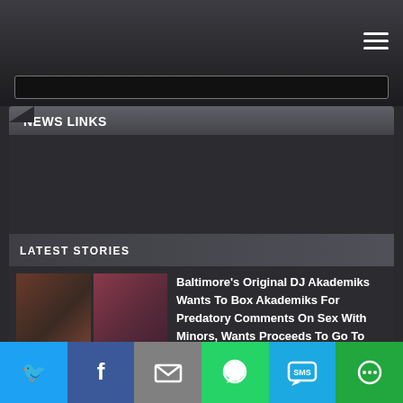Navigation bar with hamburger menu and search bar
NEWS LINKS
LATEST STORIES
Baltimore's Original DJ Akademiks Wants To Box Akademiks For Predatory Comments On Sex With Minors, Wants Proceeds To Go To Underage Sexual Assault Victims
DJ Akademiks Speaks On Sex With Underage Girls
Share buttons: Twitter, Facebook, Email, WhatsApp, SMS, More